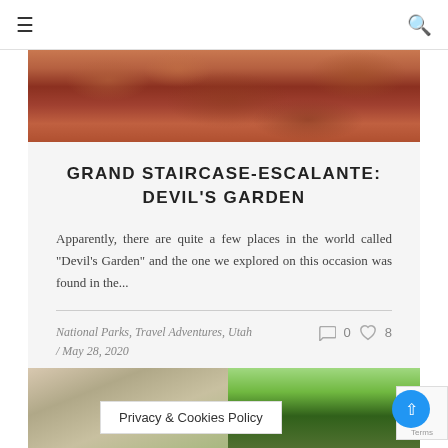≡  🔍
[Figure (photo): Red rock canyon formations at Grand Staircase-Escalante National Monument]
GRAND STAIRCASE-ESCALANTE: DEVIL'S GARDEN
Apparently, there are quite a few places in the world called "Devil's Garden" and the one we explored on this occasion was found in the...
National Parks, Travel Adventures, Utah / May 28, 2020   💬 0  ♡ 8
[Figure (photo): Trees and foliage — bottom partial image strip]
Privacy & Cookies Policy